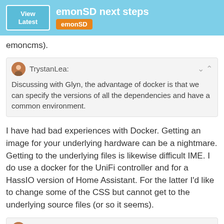emonSD next steps
emoncms).
TrystanLea: Discussing with Glyn, the advantage of docker is that we can specify the versions of all the dependencies and have a common environment.
I have had bad experiences with Docker. Getting an image for your underlying hardware can be a nightmare. Getting to the underlying files is likewise difficult IME. I do use a docker for the UniFi controller and for a HassIO version of Home Assistant. For the latter I'd like to change some of the CSS but cannot get to the underlying source files (or so it seems).
TrystanLea: Discussing with Glyn, the advantage of ... can specify the versions of all the depen...
5 / 138